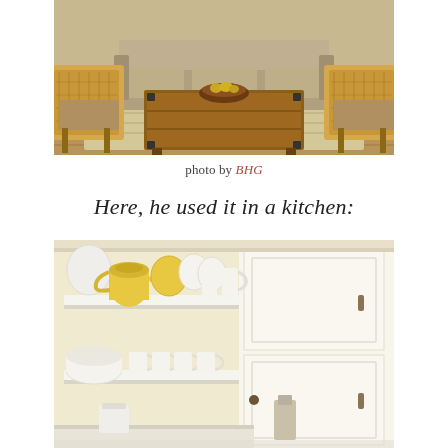[Figure (photo): Living room interior with two wicker/rattan chairs flanking a wooden trunk-style coffee table with a brown bowl on top, set on a striped rug with a beige sofa in the background]
photo by BHG
Here, he used it in a kitchen:
[Figure (photo): Kitchen shelving with white dishes, white pitchers, white mugs, and yellow ceramic teapots/pitchers arranged on white open shelves next to white painted cabinets against a pale yellow wall]